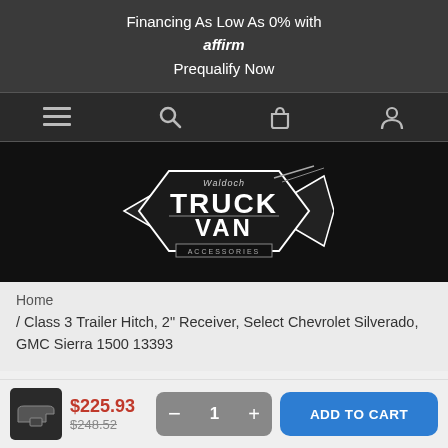Financing As Low As 0% with affirm Prequalify Now
[Figure (logo): Navigation bar with hamburger menu, search, cart, and user icons on dark background]
[Figure (logo): Waldoch Truck Van Accessories logo on black background]
Home
/ Class 3 Trailer Hitch, 2" Receiver, Select Chevrolet Silverado, GMC Sierra 1500 13393
$225.93 $248.52 — 1 + ADD TO CART